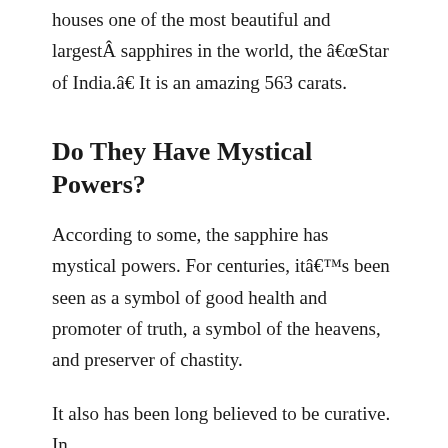houses one of the most beautiful and largestÂ sapphires in the world, the â€œStar of India.â€ It is an amazing 563 carats.
Do They Have Mystical Powers?
According to some, the sapphire has mystical powers. For centuries, itâ€™s been seen as a symbol of good health and promoter of truth, a symbol of the heavens, and preserver of chastity.
It also has been long believed to be curative. In